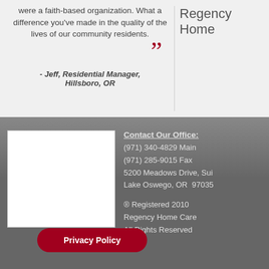were a faith-based organization. What a difference you've made in the quality of the lives of our community residents.
- Jeff, Residential Manager, Hillsboro, OR
Regency Home
[Figure (map): White rectangle placeholder for an embedded map]
Contact Our Office:
(971) 340-4829 Main
(971) 285-9015 Fax
5200 Meadows Drive, Sui
Lake Oswego, OR 97035
® Registered 2010
Regency Home Care
All Rights Reserved
Privacy Policy